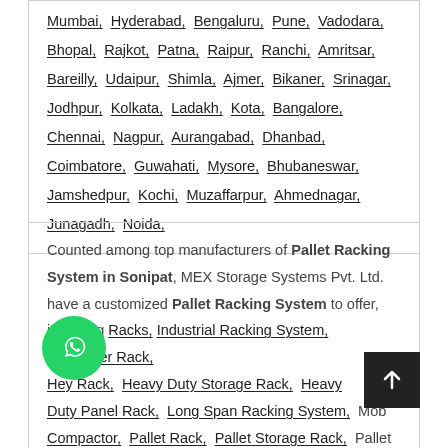Mumbai, Hyderabad, Bengaluru, Pune, Vadodara, Bhopal, Rajkot, Patna, Raipur, Ranchi, Amritsar, Bareilly, Udaipur, Shimla, Ajmer, Bikaner, Srinagar, Jodhpur, Kolkata, Ladakh, Kota, Bangalore, Chennai, Nagpur, Aurangabad, Dhanbad, Coimbatore, Guwahati, Mysore, Bhubaneswar, Jamshedpur, Kochi, Muzaffarpur, Ahmednagar, Junagadh, Noida,
Counted among top manufacturers of Pallet Racking System in Sonipat, MEX Storage Systems Pvt. Ltd. have a customized Pallet Racking System to offer, including Racks, Industrial Racking System, Cantilever Rack, Heavy Duty Rack, Heavy Duty Storage Rack, Heavy Duty Panel Rack, Long Span Racking System, Mobile Compactor, Pallet Rack, Pallet Storage Rack, Pallet